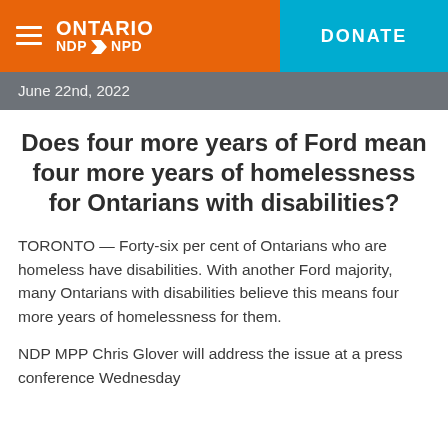ONTARIO NDP⊲NPD | DONATE
June 22nd, 2022
Does four more years of Ford mean four more years of homelessness for Ontarians with disabilities?
TORONTO — Forty-six per cent of Ontarians who are homeless have disabilities. With another Ford majority, many Ontarians with disabilities believe this means four more years of homelessness for them.
NDP MPP Chris Glover will address the issue at a press conference Wednesday